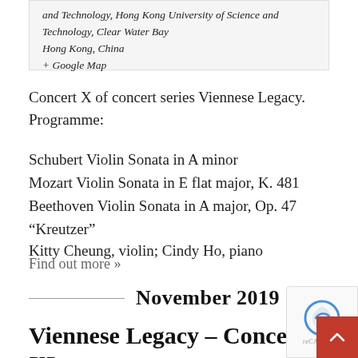and Technology, Hong Kong University of Science and Technology, Clear Water Bay
Hong Kong, China
+ Google Map
Concert X of concert series Viennese Legacy. Programme:
Schubert Violin Sonata in A minor
Mozart Violin Sonata in E flat major, K. 481
Beethoven Violin Sonata in A major, Op. 47 “Kreutzer”
Kitty Cheung, violin; Cindy Ho, piano
Find out more »
November 2019
Viennese Legacy – Concert XI